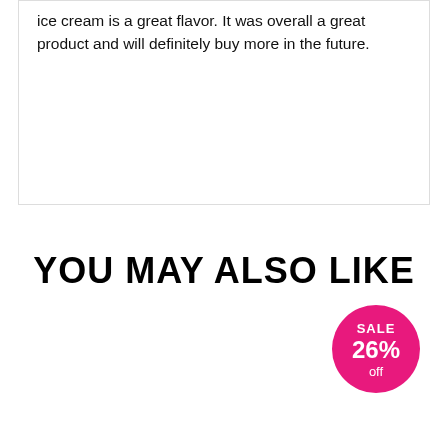ice cream is a great flavor. It was overall a great product and will definitely buy more in the future.
YOU MAY ALSO LIKE
[Figure (other): Pink circular sale badge showing SALE 26% off]